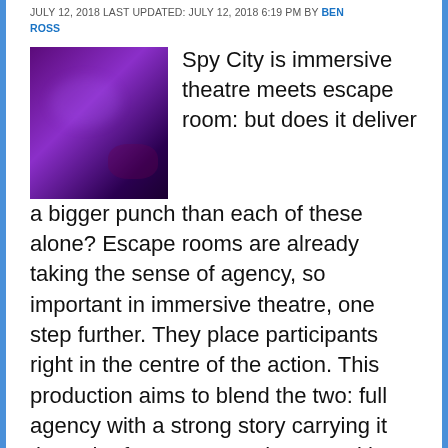JULY 12, 2018 LAST UPDATED: JULY 12, 2018 6:19 PM BY BEN ROSS
[Figure (photo): Dark purple-toned photo, likely a moody theatrical or performance scene with purple lighting]
Spy City is immersive theatre meets escape room: but does it deliver a bigger punch than each of these alone? Escape rooms are already taking the sense of agency, so important in immersive theatre, one step further. They place participants right in the centre of the action. This production aims to blend the two: full agency with a strong story carrying it through. If you've never been to either then it's worth knowing that you